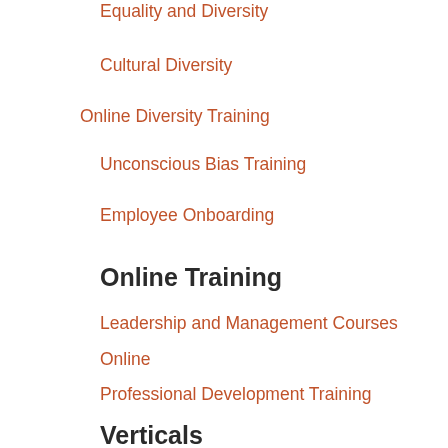Equality and Diversity
Cultural Diversity
Online Diversity Training
Unconscious Bias Training
Employee Onboarding
Online Training
Leadership and Management Courses Online
Online
Professional Development Training
Verticals
HR Training
Law Firms